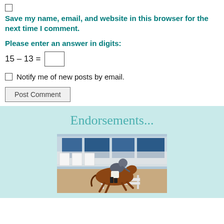Save my name, email, and website in this browser for the next time I comment.
Please enter an answer in digits:
Notify me of new posts by email.
Post Comment
Endorsements...
[Figure (photo): A horse and rider jumping over a fence at an equestrian event, with blue structures visible in the background.]